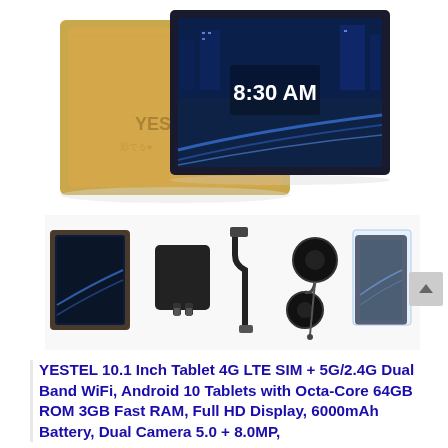[Figure (photo): Product photo showing a gold YESTEL tablet from the back and front, with the screen displaying 8:30 AM and a cityscape wallpaper]
[Figure (photo): Product accessories photo showing the tablet in a case, a charging adapter, USB cable, earphones, a small tablet, and a screen protector]
YESTEL 10.1 Inch Tablet 4G LTE SIM + 5G/2.4G Dual Band WiFi, Android 10 Tablets with Octa-Core 64GB ROM 3GB Fast RAM, Full HD Display, 6000mAh Battery, Dual Camera 5.0 + 8.0MP,